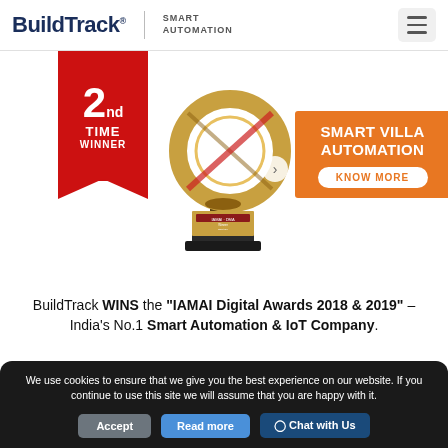BuildTrack SMART AUTOMATION
[Figure (photo): Award banner showing '2nd Time Winner' red ribbon and a golden trophy/award statuette, with an orange promo box for Smart Villa Automation with a Know More button]
BuildTrack WINS the "IAMAI Digital Awards 2018 & 2019" – India's No.1 Smart Automation & IoT Company.
We use cookies to ensure that we give you the best experience on our website. If you continue to use this site we will assume that you are happy with it.